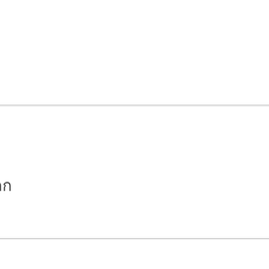wow!!! welcome
wow!!! welcome back
Log in or register to p
personal mess
personal message
กกกกกกกก/กกกกกกกกกก
Log in or register t
I only modi subtitles
I only modify s
Log in or regis
OPM is saved
Thanks a lot, much a